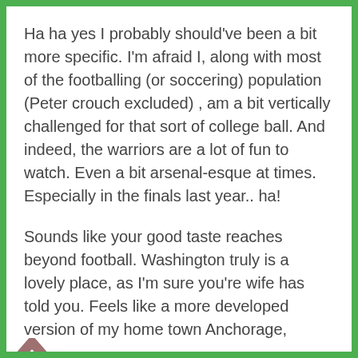Ha ha yes I probably should've been a bit more specific. I'm afraid I, along with most of the footballing (or soccering) population (Peter crouch excluded) , am a bit vertically challenged for that sort of college ball. And indeed, the warriors are a lot of fun to watch. Even a bit arsenal-esque at times. Especially in the finals last year.. ha!
Sounds like your good taste reaches beyond football. Washington truly is a lovely place, as I'm sure you're wife has told you. Feels like a more developed version of my home town Anchorage, Alaska — the initial inspiration for my username, but I like the alternative